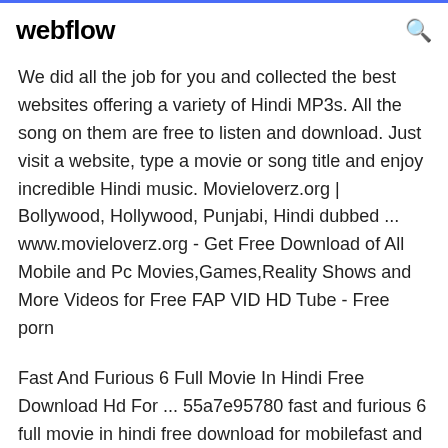webflow
We did all the job for you and collected the best websites offering a variety of Hindi MP3s. All the song on them are free to listen and download. Just visit a website, type a movie or song title and enjoy incredible Hindi music. Movieloverz.org | Bollywood, Hollywood, Punjabi, Hindi dubbed ... www.movieloverz.org - Get Free Download of All Mobile and Pc Movies,Games,Reality Shows and More Videos for Free FAP VID HD Tube - Free porn
Fast And Furious 6 Full Movie In Hindi Free Download Hd For ... 55a7e95780 fast and furious 6 full movie in hindi free download for mobilefast and furious 7 mobile movie